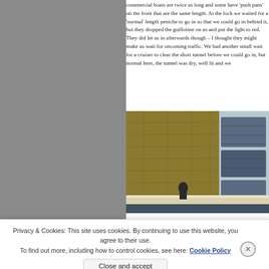commercial boats are twice as long and some have 'push pans' on the front that are the same length. At the lock we waited for a 'normal' length peniche to go in so that we could go in behind it, but they dropped the guillotine on us and put the light to red. They did let us in afterwards though – I thought they might make us wait for oncoming traffic. We had another small wait for a cruiser to clear the short tunnel before we could go in, but normal here, the tunnel was dry, well lit and we...
[Figure (photo): A boat in a lock with a large stone/concrete lock wall covered in algae/moss on the left, and what appears to be the stern/cockpit area of another boat on the right with blue canvas covers.]
Privacy & Cookies: This site uses cookies. By continuing to use this website, you agree to their use. To find out more, including how to control cookies, see here: Cookie Policy
Close and accept